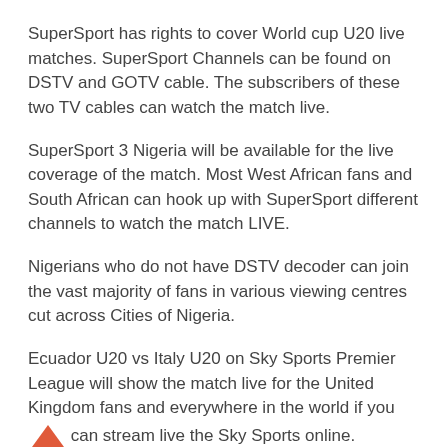SuperSport has rights to cover World cup U20 live matches. SuperSport Channels can be found on DSTV and GOTV cable. The subscribers of these two TV cables can watch the match live.
SuperSport 3 Nigeria will be available for the live coverage of the match. Most West African fans and South African can hook up with SuperSport different channels to watch the match LIVE.
Nigerians who do not have DSTV decoder can join the vast majority of fans in various viewing centres cut across Cities of Nigeria.
Ecuador U20 vs Italy U20 on Sky Sports Premier League will show the match live for the United Kingdom fans and everywhere in the world if you can stream live the Sky Sports online.